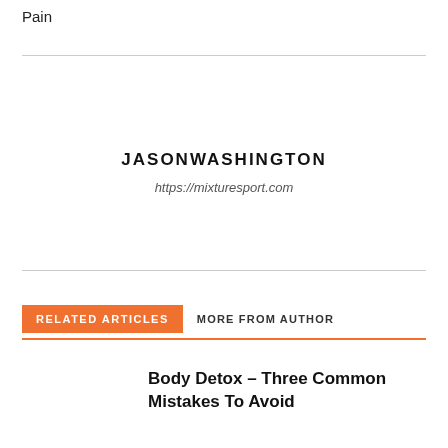Pain
JASONWASHINGTON
https://mixturesport.com
RELATED ARTICLES
MORE FROM AUTHOR
Body Detox – Three Common Mistakes To Avoid